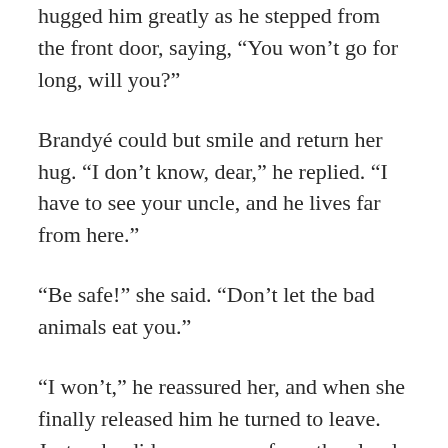hugged him greatly as he stepped from the front door, saying, “You won’t go for long, will you?”
Brandyé could but smile and return her hug. “I don’t know, dear,” he replied. “I have to see your uncle, and he lives far from here.”
“Be safe!” she said. “Don’t let the bad animals eat you.”
“I won’t,” he reassured her, and when she finally released him he turned to leave. Just as he did, a cry came from the clouds above, and even as Brandyé